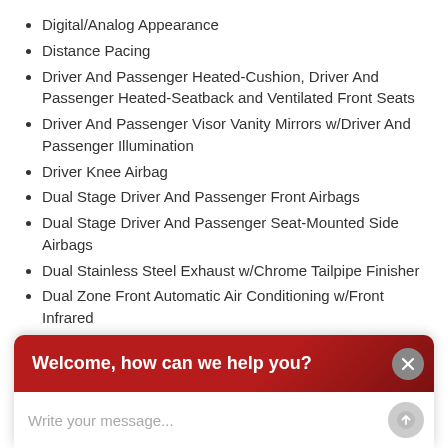Digital/Analog Appearance
Distance Pacing
Driver And Passenger Heated-Cushion, Driver And Passenger Heated-Seatback and Ventilated Front Seats
Driver And Passenger Visor Vanity Mirrors w/Driver And Passenger Illumination
Driver Knee Airbag
Dual Stage Driver And Passenger Front Airbags
Dual Stage Driver And Passenger Seat-Mounted Side Airbags
Dual Stainless Steel Exhaust w/Chrome Tailpipe Finisher
Dual Zone Front Automatic Air Conditioning w/Front Infrared
Electro-Hydraulic Power Assist Steering
E... (partially obscured)
E... (partially obscured)
E... (partially obscured)
P... (partially obscured)
P... Park and Defroster
Forward Collision Warning and Rear Collision Warning
[Figure (screenshot): Chat widget overlay with dark red header 'Welcome, how can we help you?', a close button (X) on the right, and a text input area with placeholder 'Write your message...' and a send button.]